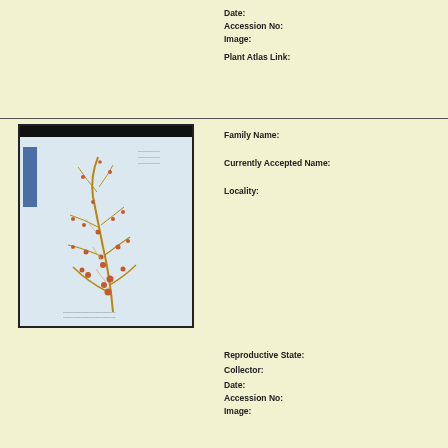Date:
Accession No:
Image:
Plant Atlas Link:
[Figure (photo): Herbarium specimen photograph showing a dried plant with small reddish-orange fruits/flowers on branching stems, mounted on white paper with a blue label on the left side and a black bar at the top.]
Family Name:
Currently Accepted Name:
Locality:
Reproductive State:
Collector:
Date:
Accession No:
Image: